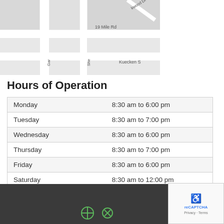[Figure (map): Partial street map showing 19 Mile Rd, Kuecken S, Gar (truncated), She (truncated) streets]
Hours of Operation
| Monday | 8:30 am to 6:00 pm |
| Tuesday | 8:30 am to 7:00 pm |
| Wednesday | 8:30 am to 6:00 pm |
| Thursday | 8:30 am to 7:00 pm |
| Friday | 8:30 am to 6:00 pm |
| Saturday | 8:30 am to 12:00 pm |
| Sunday | Closed |
[Figure (other): Dark gray footer area with green icons and reCAPTCHA badge]